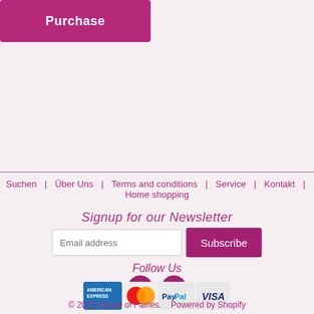Purchase
Suchen | Über Uns | Terms and conditions | Service | Kontakt | Home shopping
Signup for our Newsletter
Email address
Subscribe
Follow Us
[Figure (other): Social media icons: Facebook and Instagram circles in pink/magenta]
[Figure (other): Payment method logos: American Express, Mastercard, PayPal, Visa]
© 2022 House of Fairies.   Powered by Shopify